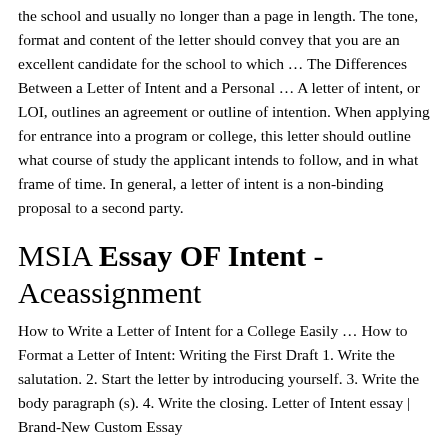the school and usually no longer than a page in length. The tone, format and content of the letter should convey that you are an excellent candidate for the school to which … The Differences Between a Letter of Intent and a Personal … A letter of intent, or LOI, outlines an agreement or outline of intention. When applying for entrance into a program or college, this letter should outline what course of study the applicant intends to follow, and in what frame of time. In general, a letter of intent is a non-binding proposal to a second party.
MSIA Essay OF Intent - Aceassignment
How to Write a Letter of Intent for a College Easily … How to Format a Letter of Intent: Writing the First Draft 1. Write the salutation. 2. Start the letter by introducing yourself. 3. Write the body paragraph (s). 4. Write the closing. Letter of Intent essay | Brand-New Custom Essay